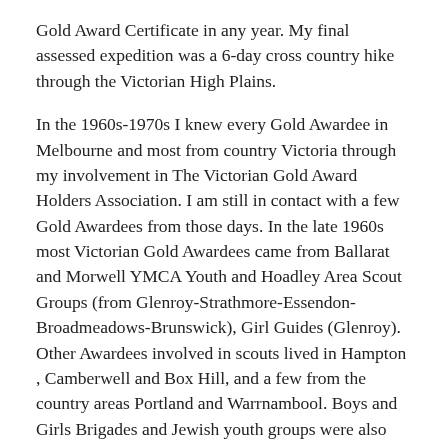Gold Award Certificate in any year.  My final assessed expedition was a 6-day cross country hike through the Victorian High Plains.
In the 1960s-1970s I knew every Gold Awardee in Melbourne and most from country Victoria through my involvement in The Victorian Gold Award Holders Association.  I am still in contact with a few Gold Awardees from those days. In the late 1960s most Victorian Gold Awardees came from Ballarat and Morwell YMCA Youth and Hoadley Area Scout Groups (from Glenroy-Strathmore-Essendon-Broadmeadows-Brunswick), Girl Guides (Glenroy). Other Awardees involved in scouts lived in Hampton , Camberwell and Box Hill, and a few from the country areas Portland and Warrnambool. Boys and Girls Brigades and Jewish youth groups were also becoming more involved in The Duke of Ed.
We were all very organised and formed our own committee.  We held successful social functions, held a